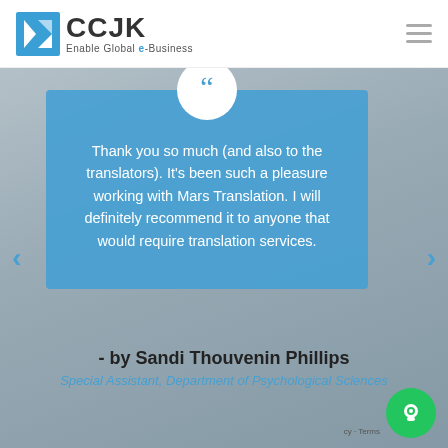[Figure (logo): CCJK logo with blue K icon and tagline 'Enable Global e-Business']
Thank you so much (and also to the translators). It's been such a pleasure working with Mars Translation. I will definitely recommend it to anyone that would require translation services.
- by Sandi Thouvenin Phillips
Special Assistant, Department of Psychological Sciences